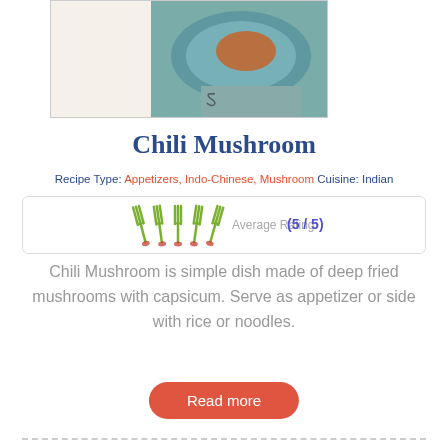[Figure (photo): Top portion of a food photo showing a dish on a decorative plate, partially cropped]
Chili Mushroom
Recipe Type: Appetizers, Indo-Chinese, Mushroom    Cuisine: Indian
[Figure (infographic): Star/fork rating display showing 5 forks with Average Rating: (5 / 5)]
Chili Mushroom is simple dish made of deep fried mushrooms with capsicum. Serve as appetizer or side with rice or noodles.
Read more
[Figure (photo): Bottom food photo partially visible, showing a dark background with red elements and a sandwich/wrap]